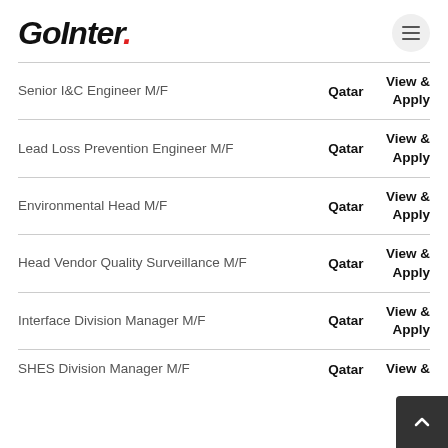GoInter.
Senior I&C Engineer M/F | Qatar | View & Apply
Lead Loss Prevention Engineer M/F | Qatar | View & Apply
Environmental Head M/F | Qatar | View & Apply
Head Vendor Quality Surveillance M/F | Qatar | View & Apply
Interface Division Manager M/F | Qatar | View & Apply
SHES Division Manager M/F | Qatar | View &